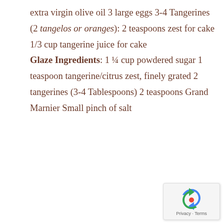extra virgin olive oil 3 large eggs 3-4 Tangerines (2 tangelos or oranges): 2 teaspoons zest for cake 1/3 cup tangerine juice for cake

Glaze Ingredients: 1 ¼ cup powdered sugar 1 teaspoon tangerine/citrus zest, finely grated 2 tangerines (3-4 Tablespoons) 2 teaspoons Grand Marnier Small pinch of salt